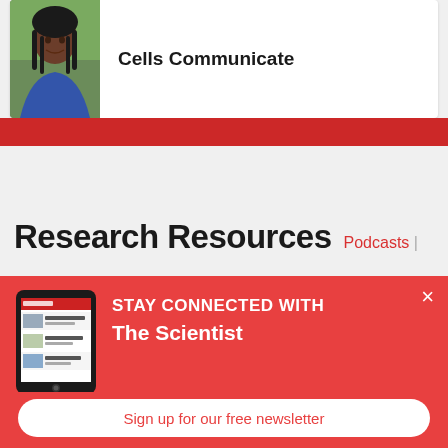Cells Communicate
Research Resources
Podcasts |
[Figure (screenshot): Screenshot of The Scientist Daily app on an iPad tablet device]
STAY CONNECTED WITH The Scientist
Get The Scientist Daily, the free daily newsletter from The Scientist
Sign up for our free newsletter